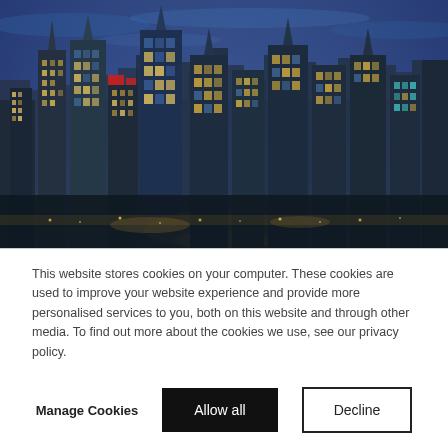[Figure (photo): Aerial night/dusk photograph of a dense city skyline, showing tall skyscrapers and office buildings illuminated with lights, with a blue twilight sky above. Resembles New York City's Midtown Manhattan.]
This website stores cookies on your computer. These cookies are used to improve your website experience and provide more personalised services to you, both on this website and through other media. To find out more about the cookies we use, see our privacy policy.
Manage Cookies
Allow all
Decline